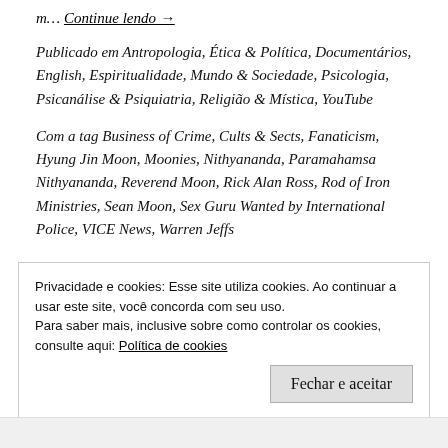m... Continue lendo →
Publicado em Antropologia, Ética & Política, Documentários, English, Espiritualidade, Mundo & Sociedade, Psicologia, Psicanálise & Psiquiatria, Religião & Mística, YouTube
Com a tag Business of Crime, Cults & Sects, Fanaticism, Hyung Jin Moon, Moonies, Nithyananda, Paramahamsa Nithyananda, Reverend Moon, Rick Alan Ross, Rod of Iron Ministries, Sean Moon, Sex Guru Wanted by International Police, VICE News, Warren Jeffs
Privacidade e cookies: Esse site utiliza cookies. Ao continuar a usar este site, você concorda com seu uso.
Para saber mais, inclusive sobre como controlar os cookies, consulte aqui: Política de cookies
Fechar e aceitar